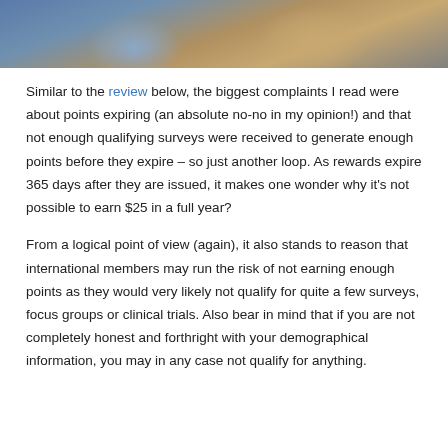[Figure (photo): Cropped photo showing two people, likely women, sitting together, one appears to be looking at a laptop or device. Warm and cool tones visible.]
Similar to the review below, the biggest complaints I read were about points expiring (an absolute no-no in my opinion!) and that not enough qualifying surveys were received to generate enough points before they expire – so just another loop. As rewards expire 365 days after they are issued, it makes one wonder why it's not possible to earn $25 in a full year?
From a logical point of view (again), it also stands to reason that international members may run the risk of not earning enough points as they would very likely not qualify for quite a few surveys, focus groups or clinical trials. Also bear in mind that if you are not completely honest and forthright with your demographical information, you may in any case not qualify for anything.